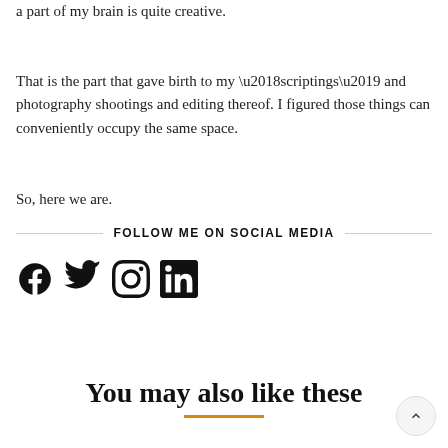a part of my brain is quite creative.
That is the part that gave birth to my ‘scriptings’ and photography shootings and editing thereof. I figured those things can conveniently occupy the same space.
So, here we are.
FOLLOW ME ON SOCIAL MEDIA
[Figure (infographic): Social media icons: Facebook, Twitter, Instagram, LinkedIn]
You may also like these